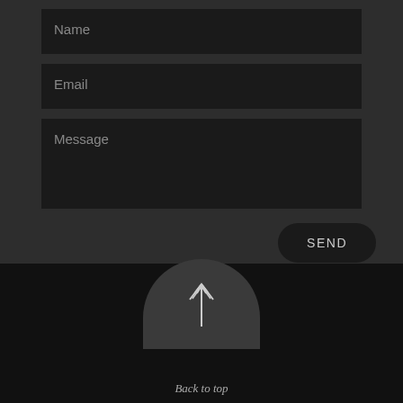[Figure (screenshot): Contact form with Name, Email, Message input fields on dark background, a SEND button, and a Back to top section at the bottom with an upward arrow icon]
Name
Email
Message
SEND
Back to top